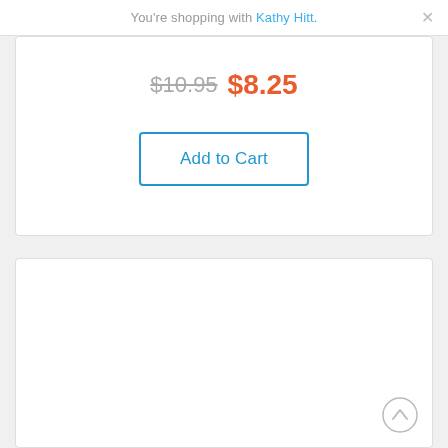You're shopping with Kathy Hitt.
$10.95  $8.25
Add to Cart
[Figure (other): Empty white card section at the bottom of the page with a scroll-to-top circular arrow button in the bottom right corner]